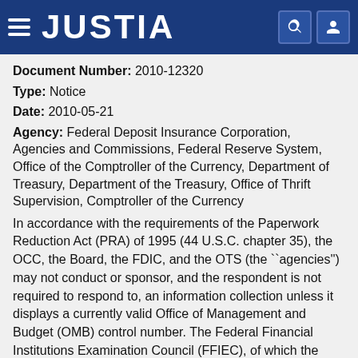JUSTIA
Document Number: 2010-12320
Type: Notice
Date: 2010-05-21
Agency: Federal Deposit Insurance Corporation, Agencies and Commissions, Federal Reserve System, Office of the Comptroller of the Currency, Department of Treasury, Department of the Treasury, Office of Thrift Supervision, Comptroller of the Currency
In accordance with the requirements of the Paperwork Reduction Act (PRA) of 1995 (44 U.S.C. chapter 35), the OCC, the Board, the FDIC, and the OTS (the ``agencies'') may not conduct or sponsor, and the respondent is not required to respond to, an information collection unless it displays a currently valid Office of Management and Budget (OMB) control number. The Federal Financial Institutions Examination Council (FFIEC), of which the agencies are members, has approved the agencies'